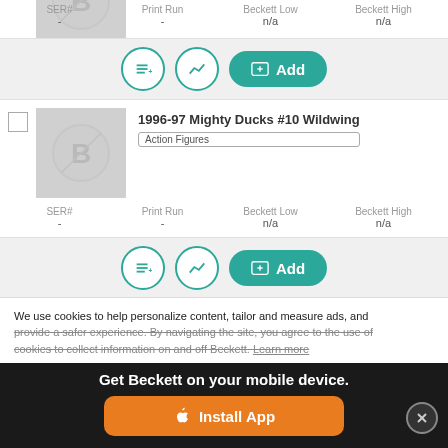[Figure (screenshot): Partial top card row showing action figure card with Beckett logo placeholder image, SER#, Print Run, Beckett Low n/a, Beckett High n/a stats and action buttons]
1996-97 Mighty Ducks #10 Wildwing
Action Figures
| SER# | Print Run | Beckett Low | Beckett High |
| --- | --- | --- | --- |
| - | - | n/a | n/a |
Add
1996-97 Mighty Ducks #10 Wildwing
Action Figures
| SER# | Print Run | Beckett Low | Beckett High |
| --- | --- | --- | --- |
| - | - | n/a | n/a |
Add
1996-97 Mighty Ducks #10 Wildwing
We use cookies to help personalize content, tailor and measure ads, and provide a safer experience. By navigating the site, you agree to the use of cookies to collect information on and off Beckett. Learn more
Get Beckett on your mobile device.
Install App